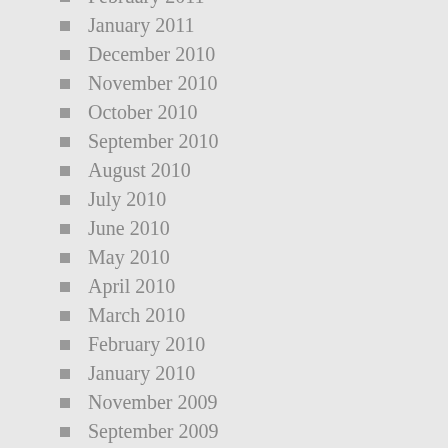February 2011
January 2011
December 2010
November 2010
October 2010
September 2010
August 2010
July 2010
June 2010
May 2010
April 2010
March 2010
February 2010
January 2010
November 2009
September 2009
September 2008